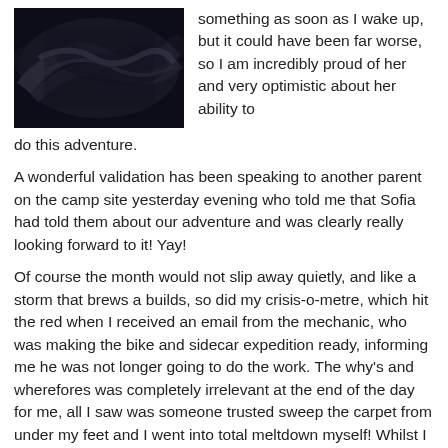[Figure (photo): Dark photograph showing what appears to be a snake or similar subject in low light conditions]
something as soon as I wake up, but it could have been far worse, so I am incredibly proud of her and very optimistic about her ability to do this adventure.
A wonderful validation has been speaking to another parent on the camp site yesterday evening who told me that Sofia had told them about our adventure and was clearly really looking forward to it!  Yay!
Of course the month would not slip away quietly, and like a storm that brews a builds, so did my crisis-o-metre, which hit the red when I received an email from the mechanic, who was making the bike and sidecar expedition ready, informing me he was not longer going to do the work.  The why's and wherefores was completely irrelevant at the end of the day for me, all I saw was someone trusted sweep the carpet from under my feet and I went into total meltdown myself!  Whilst I